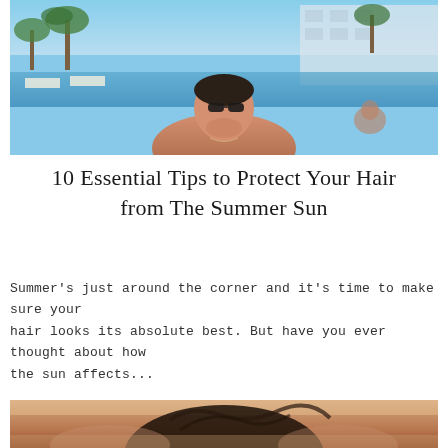[Figure (photo): Shirtless man with sunglasses at a pool/resort, sunny day, palm trees and modern building in background]
10 Essential Tips to Protect Your Hair from The Summer Sun
Summer's just around the corner and it's time to make sure your hair looks its absolute best. But have you ever thought about how the sun affects...
Read More...
[Figure (photo): Woman with wet dark hair at a pool, head tilted down, warm sunset tones]